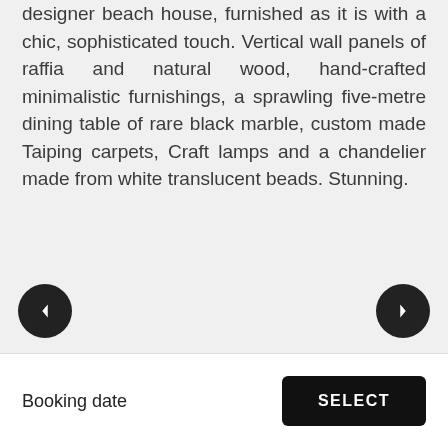designer beach house, furnished as it is with a chic, sophisticated touch. Vertical wall panels of raffia and natural wood, hand-crafted minimalistic furnishings, a sprawling five-metre dining table of rare black marble, custom made Taiping carpets, Craft lamps and a chandelier made from white translucent beads. Stunning.
Booking date